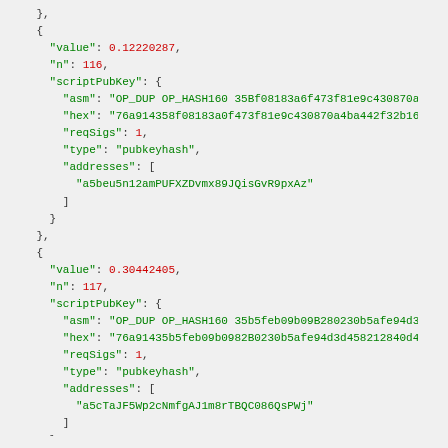JSON code block showing Bitcoin transaction output data with three entries having values 0.12220287, 0.30442405, and 0.22880933 with scriptPubKey details including asm, hex, reqSigs, type, and addresses fields.